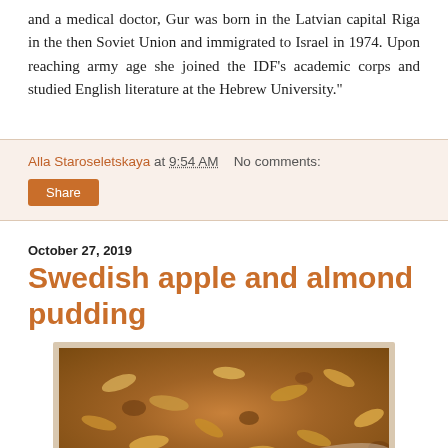and a medical doctor, Gur was born in the Latvian capital Riga in the then Soviet Union and immigrated to Israel in 1974. Upon reaching army age she joined the IDF's academic corps and studied English literature at the Hebrew University."
Alla Staroseletskaya at 9:54 AM   No comments:
Share
October 27, 2019
Swedish apple and almond pudding
[Figure (photo): A close-up photo of Swedish apple and almond pudding in a white dish, showing the golden-brown baked surface with visible almond slices.]